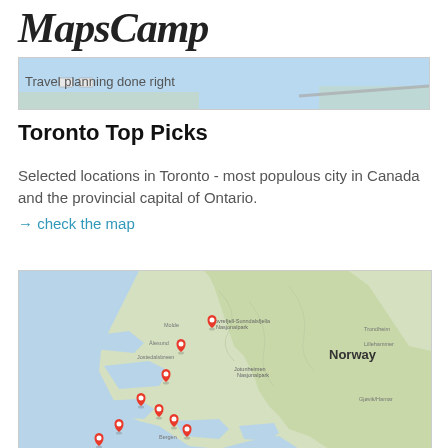MapsCamp
[Figure (map): Partial map strip showing a coastal/water area in light blue — top banner image for MapsCamp website with tagline 'Travel planning done right']
Toronto Top Picks
Selected locations in Toronto - most populous city in Canada and the provincial capital of Ontario.
→ check the map
[Figure (map): Google Maps view of Norway showing several red location pin markers placed across the western fjord region and Bergen area, with the label 'Norway' in bold text on the map]